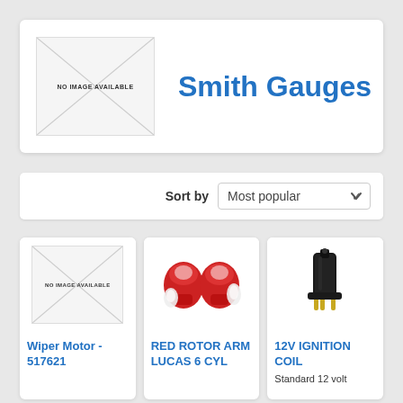[Figure (other): No image available placeholder box with diagonal cross lines]
Smith Gauges
Sort by  Most popular
[Figure (other): No image available placeholder for Wiper Motor]
Wiper Motor - 517621
[Figure (photo): Red rotor arm Lucas 6 cylinder - two red rotor caps with white clips]
RED ROTOR ARM LUCAS 6 CYL
[Figure (photo): 12V ignition coil - black cylindrical coil with gold/brass pins]
12V IGNITION COIL
Standard 12 volt